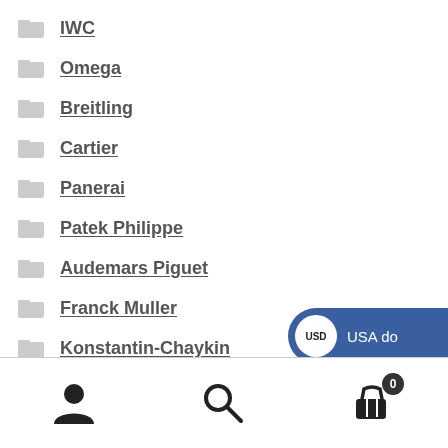IWC
Omega
Breitling
Cartier
Panerai
Patek Philippe
Audemars Piguet
Franck Muller
Konstantin-Chaykin
Bell & Ross
Bvlgari
[Figure (screenshot): Currency selector dropdown showing USD (USA dollar) selected in blue and EUR (European euro) below in dark/black panel]
User icon | Search icon | Cart icon with badge 0